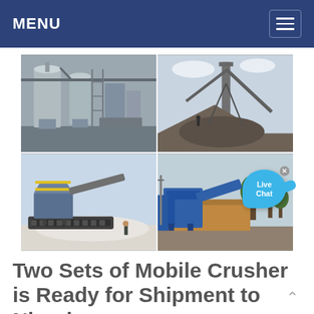MENU
[Figure (photo): Four-panel collage of industrial crushing and mining equipment: top-left shows indoor mill/grinder equipment in a factory; top-right shows an outdoor conveyor/stockpile operation; bottom-left shows a mobile crushing plant on tracks with a worker; bottom-right shows a blue mobile crusher plant outdoors with trees.]
Two Sets of Mobile Crusher is Ready for Shipment to Nigeria ...